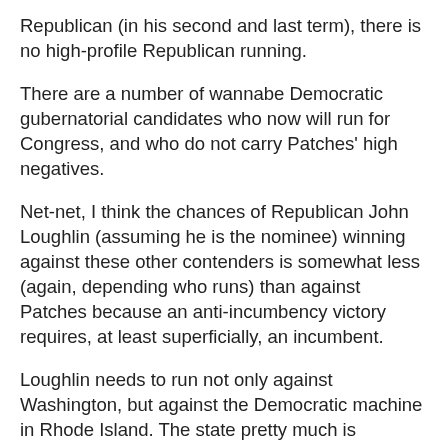Republican (in his second and last term), there is no high-profile Republican running.
There are a number of wannabe Democratic gubernatorial candidates who now will run for Congress, and who do not carry Patches' high negatives.
Net-net, I think the chances of Republican John Loughlin (assuming he is the nominee) winning against these other contenders is somewhat less (again, depending who runs) than against Patches because an anti-incumbency victory requires, at least superficially, an incumbent.
Loughlin needs to run not only against Washington, but against the Democratic machine in Rhode Island. The state pretty much is bankrupt, with enormous deficits due to the high cost of state union pensions. There is a lot of anger on the ground, as witnessed by the negative voter reaction when Senator Sheldon Whitehouse did his Alan Grayson impression on the floor of the Senate.
People in Rhode Island are sick and tired of how the